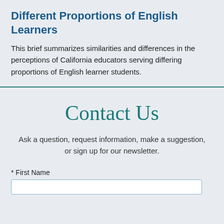Different Proportions of English Learners
This brief summarizes similarities and differences in the perceptions of California educators serving differing proportions of English learner students.
Contact Us
Ask a question, request information, make a suggestion, or sign up for our newsletter.
* First Name